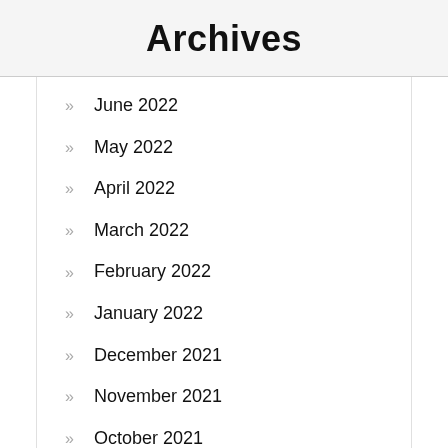Archives
June 2022
May 2022
April 2022
March 2022
February 2022
January 2022
December 2021
November 2021
October 2021